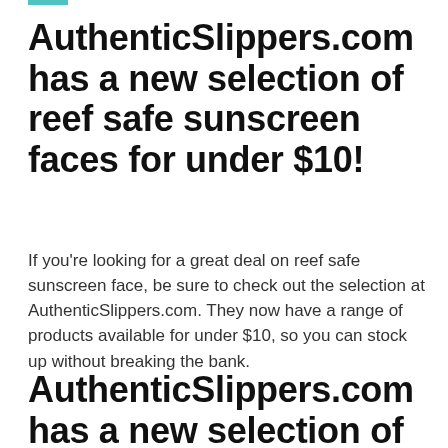AuthenticSlippers.com has a new selection of reef safe sunscreen faces for under $10!
If you're looking for a great deal on reef safe sunscreen face, be sure to check out the selection at AuthenticSlippers.com. They now have a range of products available for under $10, so you can stock up without breaking the bank.
AuthenticSlippers.com has a new selection of reef safe